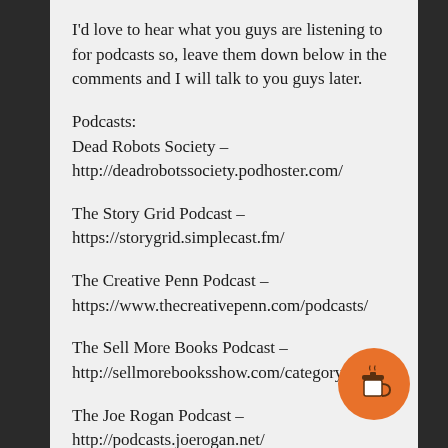I'd love to hear what you guys are listening to for podcasts so, leave them down below in the comments and I will talk to you guys later.
Podcasts:
Dead Robots Society – http://deadrobotssociety.podhoster.com/
The Story Grid Podcast – https://storygrid.simplecast.fm/
The Creative Penn Podcast – https://www.thecreativepenn.com/podcasts/
The Sell More Books Podcast – http://sellmorebooksshow.com/category/podcast/
The Joe Rogan Podcast – http://podcasts.joerogan.net/